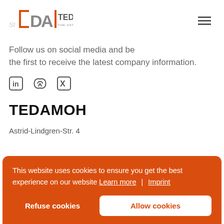[Figure (logo): TEDAMOH logo with orange stylized letters and tagline 'THE DATA MODELING HUB']
Follow us on social media and be the first to receive the latest company information.
[Figure (illustration): Social media icons: LinkedIn, Twitter, Xing]
TEDAMOH
Astrid-Lindgren-Str. 4
This website uses cookies to ensure you get the best experience on our website Learn more | Imprint
Refuse cookies
Allow cookies